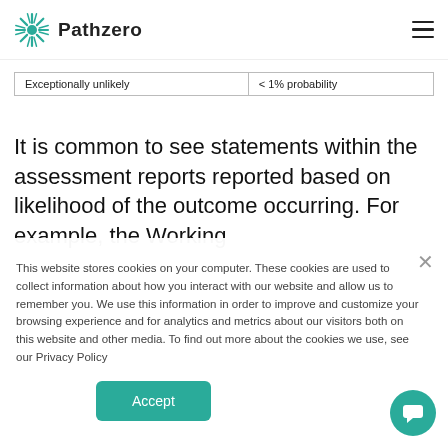Pathzero
| Exceptionally unlikely | < 1% probability |
It is common to see statements within the assessment reports reported based on likelihood of the outcome occurring. For example, the Working
This website stores cookies on your computer. These cookies are used to collect information about how you interact with our website and allow us to remember you. We use this information in order to improve and customize your browsing experience and for analytics and metrics about our visitors both on this website and other media. To find out more about the cookies we use, see our Privacy Policy
Accept